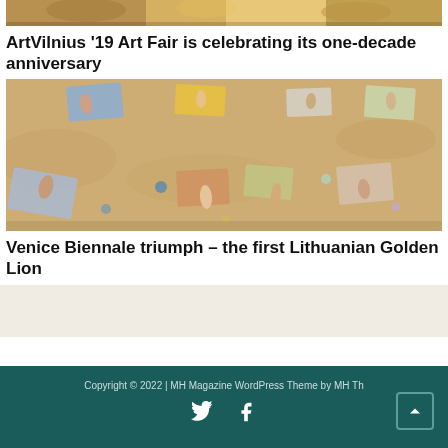[Figure (photo): Partial top strip of an art fair or exhibition image, cropped at top]
ArtVilnius '19 Art Fair is celebrating its one-decade anniversary
[Figure (photo): Aerial view of people lying on a sandy beach with towels and colorful items, taken from above]
Venice Biennale triumph – the first Lithuanian Golden Lion
Copyright © 2022 | MH Magazine WordPress Theme by MH Th